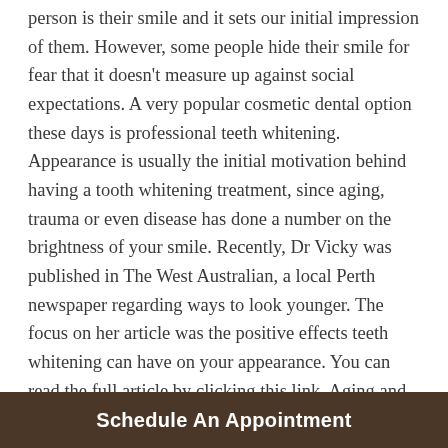person is their smile and it sets our initial impression of them. However, some people hide their smile for fear that it doesn't measure up against social expectations. A very popular cosmetic dental option these days is professional teeth whitening. Appearance is usually the initial motivation behind having a tooth whitening treatment, since aging, trauma or even disease has done a number on the brightness of your smile. Recently, Dr Vicky was published in The West Australian, a local Perth newspaper regarding ways to look younger. The focus on her article was the positive effects teeth whitening can have on your appearance. You can read the full article by clicking this link. Aging and the Colour of Your Teeth Over time, eating stain producing foods like curries, berries and tomato sauce and drinks like coffee, wine, tea, soft drinks, the
Schedule An Appointment